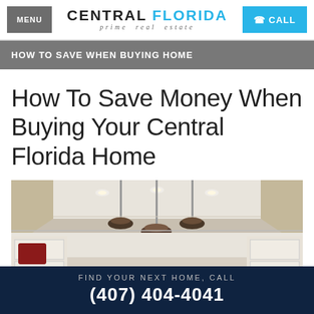MENU | CENTRAL FLORIDA prime real estate | CALL
HOW TO SAVE WHEN BUYING HOME
How To Save Money When Buying Your Central Florida Home
[Figure (photo): Interior photo of a luxury kitchen with white cabinetry, tray ceiling with recessed lighting, and hanging pendant lights]
FIND YOUR NEXT HOME, CALL (407) 404-4041